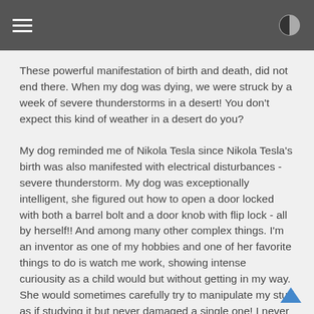These powerful manifestation of birth and death, did not end there. When my dog was dying, we were struck by a week of severe thunderstorms in a desert! You don't expect this kind of weather in a desert do you?
My dog reminded me of Nikola Tesla since Nikola Tesla's birth was also manifested with electrical disturbances - severe thunderstorm. My dog was exceptionally intelligent, she figured out how to open a door locked with both a barrel bolt and a door knob with flip lock - all by herself!! And among many other complex things. I'm an inventor as one of my hobbies and one of her favorite things to do is watch me work, showing intense curiousity as a child would but without getting in my way. She would sometimes carefully try to manipulate my stuff as if studying it but never damaged a single one! I never trained her to do anything because she learns everything all by herself and is well behaved. I sometimes think she is a person in a dog's body. Never gave